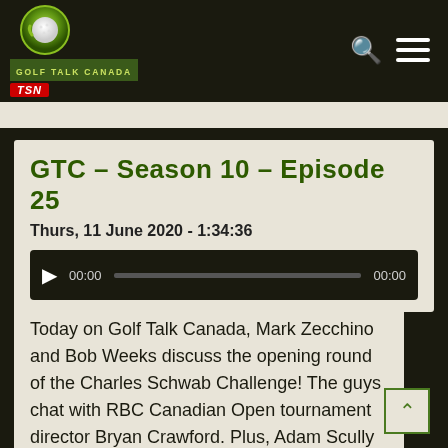[Figure (logo): Golf Talk Canada logo with TSN badge on dark green/black header bar with search and menu icons]
GTC - Season 10 - Episode 25
Thurs, 11 June 2020 - 1:34:36
[Figure (other): Audio player with play button, time 00:00 start, progress bar, and 00:00 end time]
Today on Golf Talk Canada, Mark Zecchino and Bob Weeks discuss the opening round of the Charles Schwab Challenge! The guys chat with RBC Canadian Open tournament director Bryan Crawford. Plus, Adam Scully joins the show to